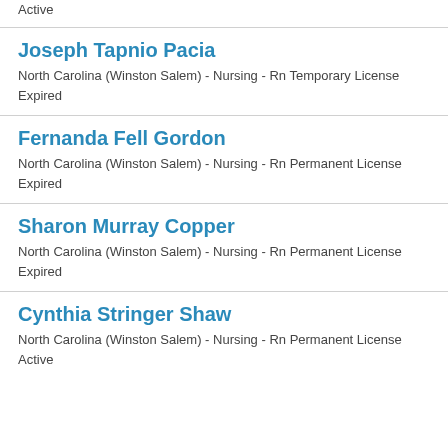Active
Joseph Tapnio Pacia
North Carolina (Winston Salem) - Nursing - Rn Temporary License Expired
Fernanda Fell Gordon
North Carolina (Winston Salem) - Nursing - Rn Permanent License Expired
Sharon Murray Copper
North Carolina (Winston Salem) - Nursing - Rn Permanent License Expired
Cynthia Stringer Shaw
North Carolina (Winston Salem) - Nursing - Rn Permanent License Active